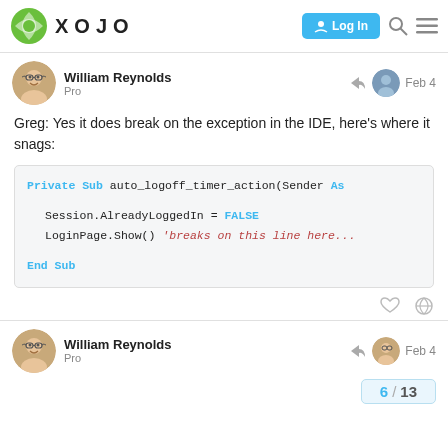XOJO — Log In
William Reynolds
Pro
Feb 4
Greg: Yes it does break on the exception in the IDE, here's where it snags:
[Figure (screenshot): Code block showing Xojo code: Private Sub auto_logoff_timer_action(Sender As
  Session.AlreadyLoggedIn = FALSE
  LoginPage.Show() 'breaks on this line here...
End Sub]
William Reynolds
Pro
Feb 4
6 / 13